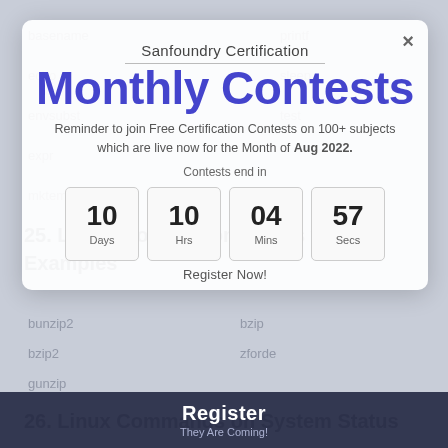basename  printf  echo  sleep  envsubst  test  expr  mktemp  bunzip2  bzip2  gunzip
25. Linux Storage Commands with Examples
26. Linux Commands on System Status
Sanfoundry Certification
Monthly Contests
Reminder to join Free Certification Contests on 100+ subjects which are live now for the Month of Aug 2022.
Contests end in
10 Days  10 Hrs  04 Mins  57 Secs
Register Now!
Register
They Are Coming!